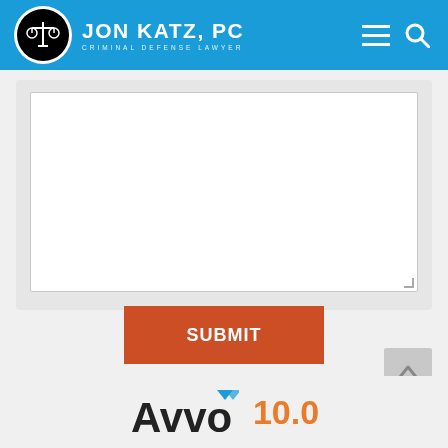[Figure (logo): Jon Katz, PC Criminal Defense Lawyer logo with scales of justice icon on blue header bar]
[Figure (screenshot): White textarea form field for user input, part of a contact form]
SUBMIT
[Figure (logo): Avvo logo with rating 10.0]